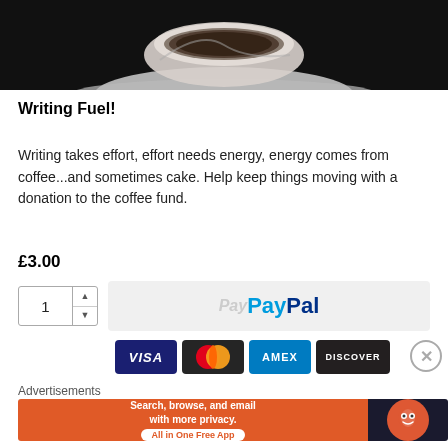[Figure (photo): Top portion of a cup of coffee on a saucer against a dark background]
Writing Fuel!
Writing takes effort, effort needs energy, energy comes from coffee...and sometimes cake. Help keep things moving with a donation to the coffee fund.
£3.00
[Figure (screenshot): Quantity selector showing 1, and PayPal payment button]
[Figure (screenshot): Payment card logos: VISA, Mastercard, AMEX, DISCOVER]
Advertisements
[Figure (screenshot): DuckDuckGo advertisement banner: Search, browse, and email with more privacy. All in One Free App]